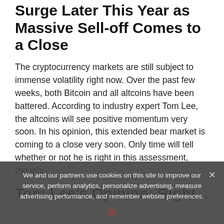Surge Later This Year as Massive Sell-off Comes to a Close
The cryptocurrency markets are still subject to immense volatility right now. Over the past few weeks, both Bitcoin and all altcoins have been battered. According to industry expert Tom Lee, the altcoins will see positive momentum very soon. In his opinion, this extended bear market is coming to a close very soon. Only time will tell whether or not he is right in this assessment, though.
Tom Lee's Opinion: Right...
We and our partners use cookies on this site to improve our service, perform analytics, personalize advertising, measure advertising performance, and remember website preferences.
Ok